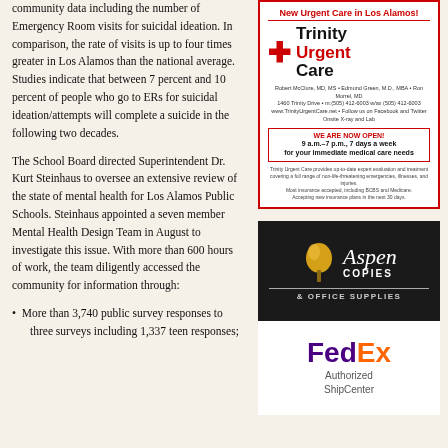community data including the number of Emergency Room visits for suicidal ideation. In comparison, the rate of visits is up to four times greater in Los Alamos than the national average. Studies indicate that between 7 percent and 10 percent of people who go to ERs for suicidal ideation/attempts will complete a suicide in the following two decades.
The School Board directed Superintendent Dr. Kurt Steinhaus to oversee an extensive review of the state of mental health for Los Alamos Public Schools. Steinhaus appointed a seven member Mental Health Design Team in August to investigate this issue. With more than 600 hours of work, the team diligently accessed the community for information through:
More than 3,740 public survey responses to three surveys including 1,337 teen responses;
[Figure (illustration): Trinity Urgent Care advertisement with red cross logo, contact information, hours (9 a.m.–7 p.m., 7 days a week), and details about services and insurance accepted.]
[Figure (illustration): Aspen Copies & Office Supplies advertisement with gold aspen leaf logo on black background.]
[Figure (illustration): FedEx Authorized ShipCenter advertisement with FedEx logo in purple and orange.]